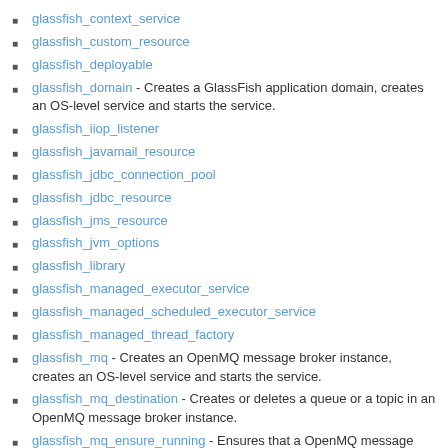glassfish_context_service
glassfish_custom_resource
glassfish_deployable
glassfish_domain - Creates a GlassFish application domain, creates an OS-level service and starts the service.
glassfish_iiop_listener
glassfish_javamail_resource
glassfish_jdbc_connection_pool
glassfish_jdbc_resource
glassfish_jms_resource
glassfish_jvm_options
glassfish_library
glassfish_managed_executor_service
glassfish_managed_scheduled_executor_service
glassfish_managed_thread_factory
glassfish_mq - Creates an OpenMQ message broker instance, creates an OS-level service and starts the service.
glassfish_mq_destination - Creates or deletes a queue or a topic in an OpenMQ message broker instance.
glassfish_mq_ensure_running - Ensures that a OpenMQ message broker instance has had a chance to finish starting before proceeding.
glassfish_property